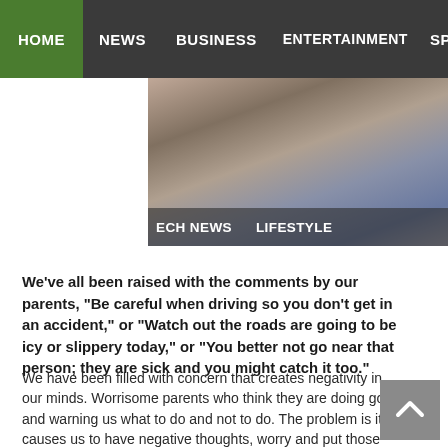HOME  NEWS  BUSINESS  ENTERTAINMENT  SPORT
[Figure (photo): Partial photo of people, with overlay navigation labels: TECH NEWS and LIFESTYLE]
We've all been raised with the comments by our parents, “Be careful when driving so you don’t get in an accident,” or “Watch out the roads are going to be icy or slippery today,” or “You better not go near that person; they are sick and you might catch it too.”
We have been filled with concern that creates negativity in our minds. Worrisome parents who think they are doing good and warning us what to do and not to do. The problem is it causes us to have negative thoughts, worry and put those some kind of remarks on our children.